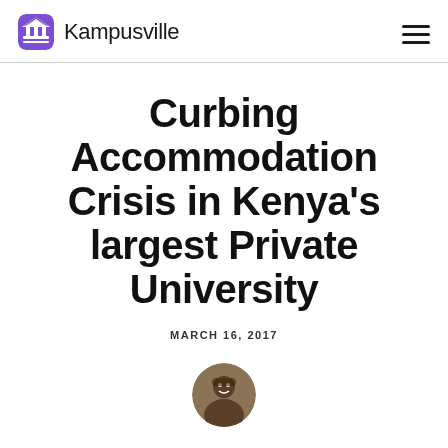Kampusville
Curbing Accommodation Crisis in Kenya's largest Private University
MARCH 16, 2017
[Figure (photo): Author headshot, circular crop, bottom of page]